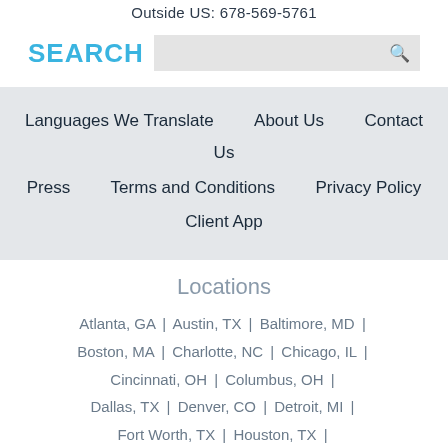Outside US: 678-569-5761
SEARCH
Languages We Translate | About Us | Contact Us | Press | Terms and Conditions | Privacy Policy | Client App
Locations
Atlanta, GA | Austin, TX | Baltimore, MD | Boston, MA | Charlotte, NC | Chicago, IL | Cincinnati, OH | Columbus, OH | Dallas, TX | Denver, CO | Detroit, MI | Fort Worth, TX | Houston, TX | Indianapolis, IN | Jacksonville, FL | Las Vegas, NV | Los Angeles, CA | Memphis, TN | Miami, FL |